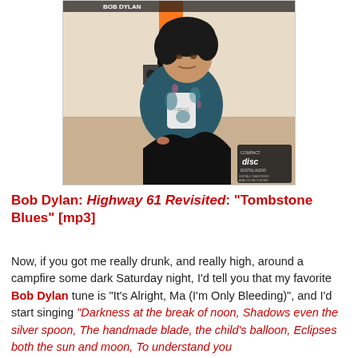[Figure (photo): Album cover photo of Bob Dylan's Highway 61 Revisited — a young man (Bob Dylan) sits on the ground wearing a patterned jacket and white t-shirt, holding something in his hand. Another figure stands behind him. A compact disc logo is visible in the lower right corner.]
Bob Dylan: Highway 61 Revisited: "Tombstone Blues" [mp3]
Now, if you got me really drunk, and really high, around a campfire some dark Saturday night, I'd tell you that my favorite Bob Dylan tune is "It's Alright, Ma (I'm Only Bleeding)", and I'd start singing "Darkness at the break of noon, Shadows even the silver spoon, The handmade blade, the child's balloon, Eclipses both the sun and moon, To understand you...